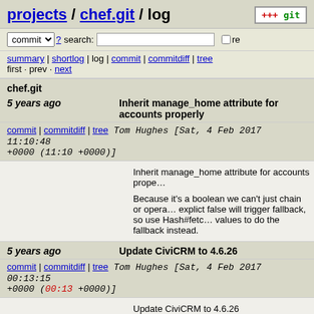projects / chef.git / log
commit ? search: re
summary | shortlog | log | commit | commitdiff | tree
first · prev · next
chef.git
5 years ago  Inherit manage_home attribute for accounts properly
commit | commitdiff | tree  Tom Hughes [Sat, 4 Feb 2017 11:10:48 +0000 (11:10 +0000)]
Inherit manage_home attribute for accounts properly

Because it's a boolean we can't just chain or operations as an explict false will trigger fallback, so use Hash#fetch with default values to do the fallback instead.
5 years ago  Update CiviCRM to 4.6.26
commit | commitdiff | tree  Tom Hughes [Sat, 4 Feb 2017 00:13:15 +0000 (00:13 +0000)]
Update CiviCRM to 4.6.26